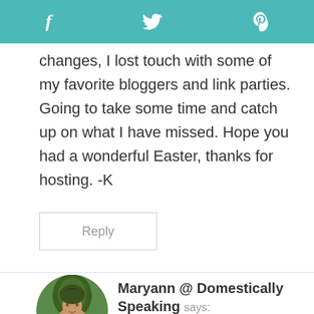f  [twitter]  p
changes, I lost touch with some of my favorite bloggers and link parties. Going to take some time and catch up on what I have missed. Hope you had a wonderful Easter, thanks for hosting. -K
Reply
Maryann @ Domestically Speaking says:
April 10, 2012 at 9:36 pm